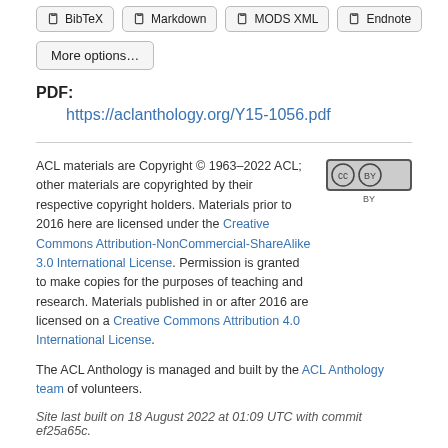BibTeX | Markdown | MODS XML | Endnote
More options…
PDF:
https://aclanthology.org/Y15-1056.pdf
ACL materials are Copyright © 1963–2022 ACL; other materials are copyrighted by their respective copyright holders. Materials prior to 2016 here are licensed under the Creative Commons Attribution-NonCommercial-ShareAlike 3.0 International License. Permission is granted to make copies for the purposes of teaching and research. Materials published in or after 2016 are licensed on a Creative Commons Attribution 4.0 International License.
The ACL Anthology is managed and built by the ACL Anthology team of volunteers.
Site last built on 18 August 2022 at 01:09 UTC with commit ef25a65c.